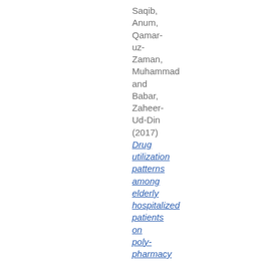Saqib, Anum, Qamar-uz-Zaman, Muhammad and Babar, Zaheer-Ud-Din (2017) Drug utilization patterns among elderly hospitalized patients on poly-pharmacy